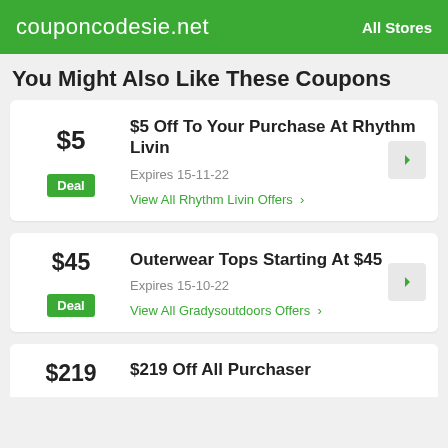couponcodesie.net   All Stores
You Might Also Like These Coupons
$5 Off To Your Purchase At Rhythm Livin | Expires 15-11-22 | Deal | View All Rhythm Livin Offers
Outerwear Tops Starting At $45 | Expires 15-10-22 | Deal | View All Gradysoutdoors Offers
$219 Off All Purchaser (partial)